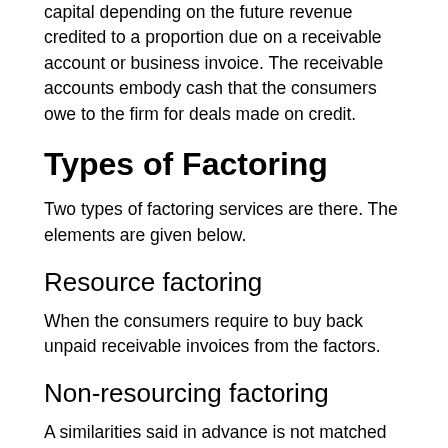capital depending on the future revenue credited to a proportion due on a receivable account or business invoice. The receivable accounts embody cash that the consumers owe to the firm for deals made on credit.
Types of Factoring
Two types of factoring services are there. The elements are given below.
Resource factoring
When the consumers require to buy back unpaid receivable invoices from the factors.
Non-resourcing factoring
A similarities said in advance is not matched